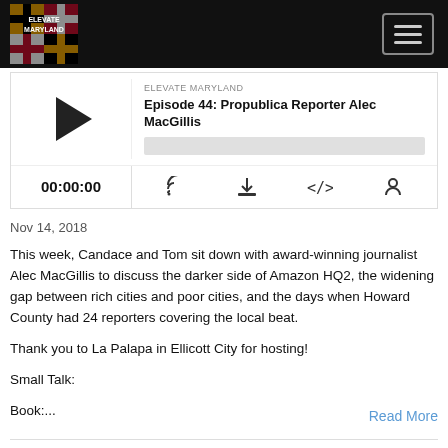[Figure (screenshot): Elevate Maryland podcast logo in white box on black navbar, with hamburger menu button on right]
[Figure (screenshot): Podcast player widget showing play button, episode title 'Episode 44: Propublica Reporter Alec MacGillis', progress bar, time 00:00:00, and control icons]
Nov 14, 2018
This week, Candace and Tom sit down with award-winning journalist Alec MacGillis to discuss the darker side of Amazon HQ2, the widening gap between rich cities and poor cities, and the days when Howard County had 24 reporters covering the local beat.
Thank you to La Palapa in Ellicott City for hosting!
Small Talk:
Book:...
Read More